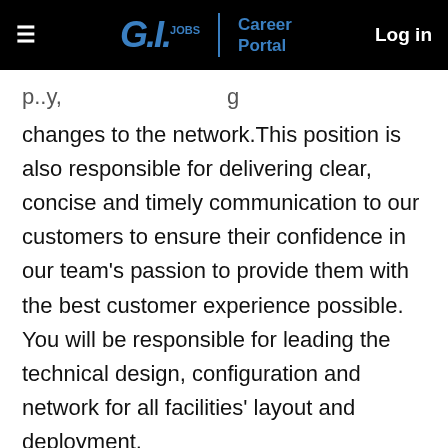GI.JOBS | Career Portal   Log in
changes to the network.This position is also responsible for delivering clear, concise and timely communication to our customers to ensure their confidence in our team’s passion to provide them with the best customer experience possible. You will be responsible for leading the technical design, configuration and network for all facilities’ layout and deployment.
What Do You Need?
(cut off at bottom)